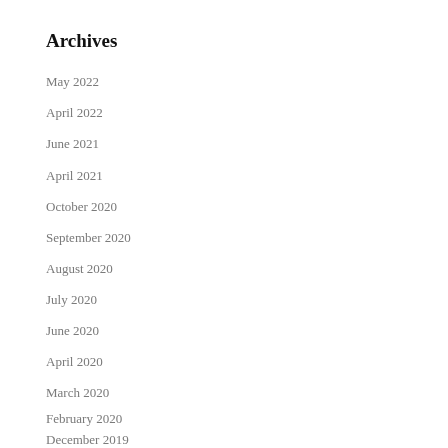Archives
May 2022
April 2022
June 2021
April 2021
October 2020
September 2020
August 2020
July 2020
June 2020
April 2020
March 2020
February 2020
December 2019